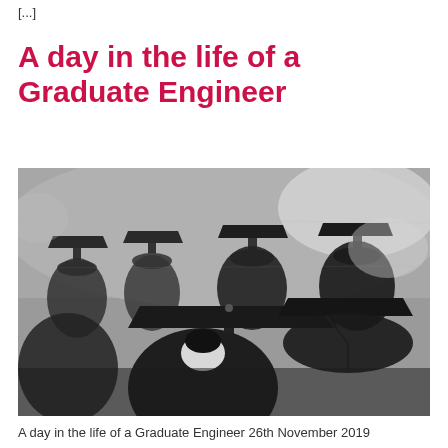[...]
A day in the life of a Graduate Engineer
[Figure (photo): Black and white photograph showing graduates from behind wearing graduation caps and gowns, seated in rows at a graduation ceremony]
A day in the life of a Graduate Engineer 26th November 2019